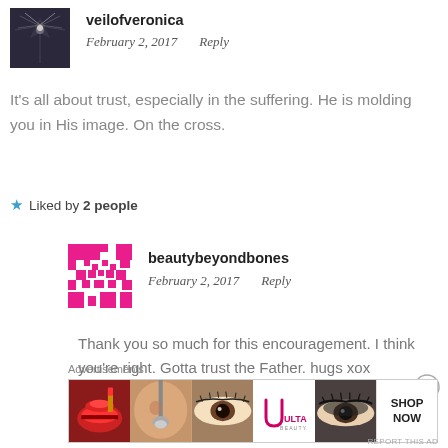[Figure (photo): Avatar photo of veilofveronica — a dark photo with a bright light/flare in center]
veilofveronica
February 2, 2017   Reply
It’s all about trust, especially in the suffering. He is molding you in His image. On the cross.
★ Liked by 2 people
[Figure (logo): Avatar logo of beautybeyondbones — pink pixelated geometric pattern]
beautybeyondbones
February 2, 2017   Reply
Thank you so much for this encouragement. I think you’re right. Gotta trust the Father. hugs xox
Advertisements
[Figure (photo): Advertisement banner showing makeup/beauty products — lips with lipstick, makeup brush, eye close-up, ULTA Beauty logo, eye close-up with dark makeup, and SHOP NOW button]